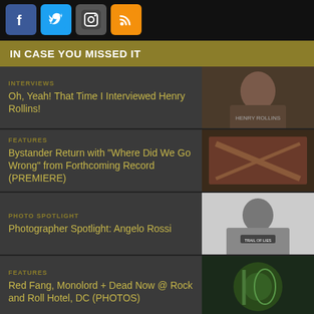[Figure (other): Social media icons: Facebook (blue), Twitter (blue), Instagram (dark), RSS (orange)]
IN CASE YOU MISSED IT
INTERVIEWS — Oh, Yeah! That Time I Interviewed Henry Rollins!
FEATURES — Bystander Return with "Where Did We Go Wrong" from Forthcoming Record (PREMIERE)
PHOTO SPOTLIGHT — Photographer Spotlight: Angelo Rossi
FEATURES — Red Fang, Monolord + Dead Now @ Rock and Roll Hotel, DC (PHOTOS)
INTERVIEWS — Mike Gallagher (Mustard Gas and Roses, Isis, Cast Iron Hike)
[Figure (other): Partial card with Farside logo visible at bottom]